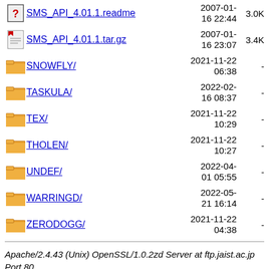SMS_API_4.01.1.readme  2007-01-16 22:44  3.0K
SMS_API_4.01.1.tar.gz  2007-01-16 23:07  3.4K
SNOWFLY/  2021-11-22 06:38  -
TASKULA/  2022-02-16 08:37  -
TEX/  2021-11-22 10:29  -
THOLEN/  2021-11-22 10:27  -
UNDEF/  2022-04-01 05:55  -
WARRINGD/  2022-05-21 16:14  -
ZERODOGG/  2021-11-22 04:38  -
Apache/2.4.43 (Unix) OpenSSL/1.0.2zd Server at ftp.jaist.ac.jp Port 80